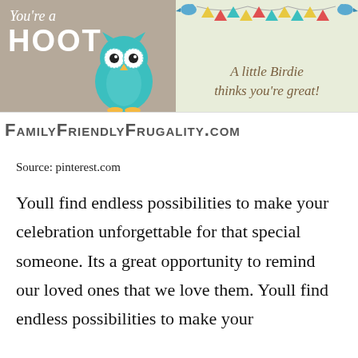[Figure (illustration): Two greeting card images side by side. Left card: tan/beige background with white text 'You're a HOOT' and a cute teal cartoon owl. Right card: light green background with bunting/pennant flags at top, two blue birds, and text 'A little Birdie thinks you're great!' in brown italic font. Below both cards is a logo bar reading 'FamilyFriendlyFrugality.com']
Source: pinterest.com
Youll find endless possibilities to make your celebration unforgettable for that special someone. Its a great opportunity to remind our loved ones that we love them. Youll find endless possibilities to make your